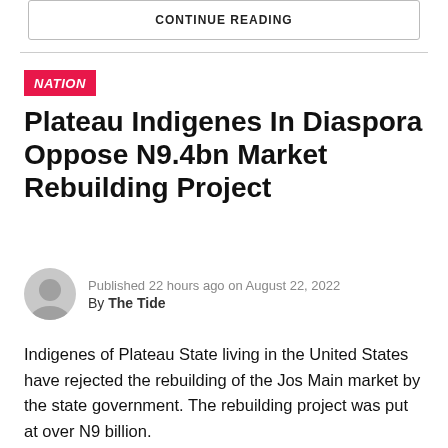CONTINUE READING
NATION
Plateau Indigenes In Diaspora Oppose N9.4bn Market Rebuilding Project
Published 22 hours ago on August 22, 2022
By The Tide
Indigenes of Plateau State living in the United States have rejected the rebuilding of the Jos Main market by the state government. The rebuilding project was put at over N9 billion.
The group, under the auspices of the Plateau State Association USA, Inc. (PSA-USA, Inc) in a letter dated August 15 and addressed to the governor, said “the